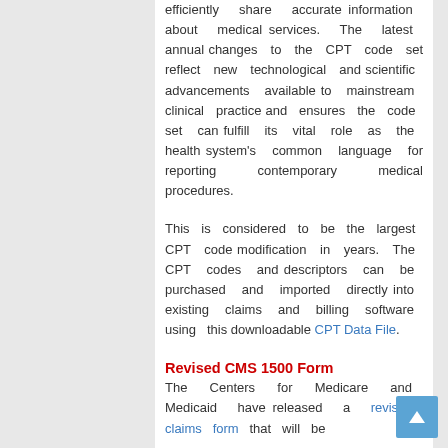efficiently share accurate information about medical services. The latest annual changes to the CPT code set reflect new technological and scientific advancements available to mainstream clinical practice and ensures the code set can fulfill its vital role as the health system's common language for reporting contemporary medical procedures.
This is considered to be the largest CPT code modification in years. The CPT codes and descriptors can be purchased and imported directly into existing claims and billing software using this downloadable CPT Data File.
Revised CMS 1500 Form
The Centers for Medicare and Medicaid have released a revised claims form that will be